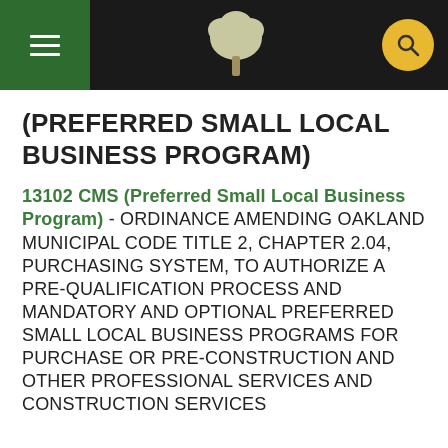City of Oakland — navigation header with logo and search
(PREFERRED SMALL LOCAL BUSINESS PROGRAM)
13102 CMS (Preferred Small Local Business Program) - ORDINANCE AMENDING OAKLAND MUNICIPAL CODE TITLE 2, CHAPTER 2.04, PURCHASING SYSTEM, TO AUTHORIZE A PRE-QUALIFICATION PROCESS AND MANDATORY AND OPTIONAL PREFERRED SMALL LOCAL BUSINESS PROGRAMS FOR PURCHASE OR PRE-CONSTRUCTION AND OTHER PROFESSIONAL SERVICES AND CONSTRUCTION SERVICES